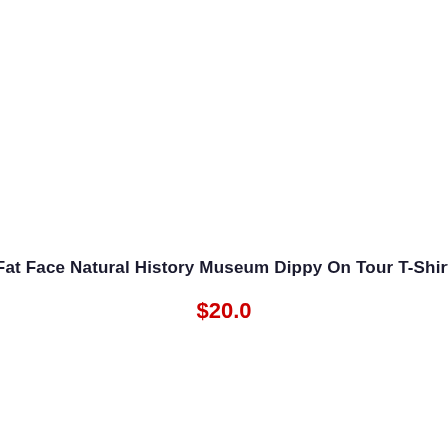Fat Face Natural History Museum Dippy On Tour T-Shirt
$20.0